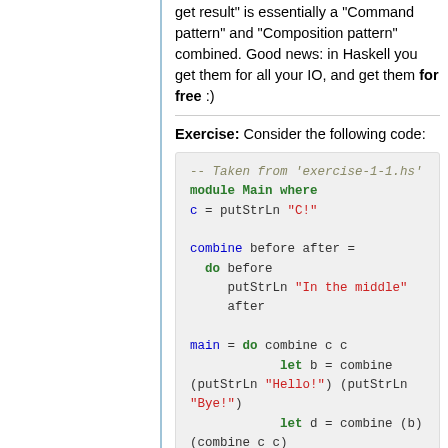get result" is essentially a "Command pattern" and "Composition pattern" combined. Good news: in Haskell you get them for all your IO, and get them for free :)
Exercise: Consider the following code:
[Figure (screenshot): Haskell code block showing module Main where with combine and main functions]
Notice how we carefully indent lines so that source looks neat? Actually, Haskell